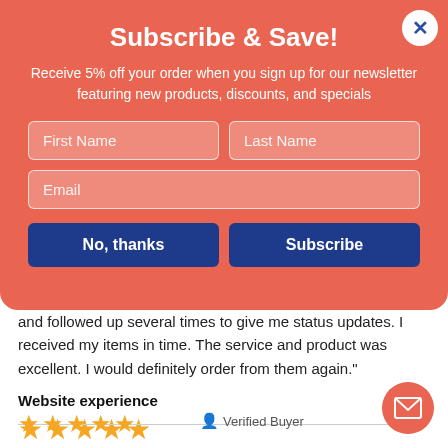Subscribe & Save!
Receive 5% off your order when you sign up for our newsletter featuring new products, discounts, and specials
First Name
Last Name
Email
No, thanks
Subscribe
and followed up several times to give me status updates. I received my items in time. The service and product was excellent. I would definitely order from them again."
Website experience
★★★★★
★★★★★
Verified Buyer